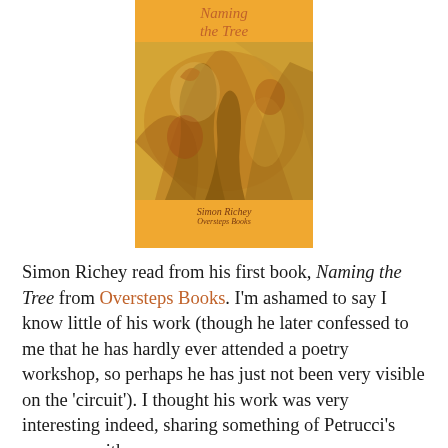[Figure (illustration): Book cover of 'Naming the Tree' by Simon Richey, published by Oversteps Books. Orange/amber background with italic title text in rust color at top, a central photographic or painted image of tree bark/roots in amber and brown tones, and author name and publisher in italic text at bottom.]
Simon Richey read from his first book, Naming the Tree from Oversteps Books. I'm ashamed to say I know little of his work (though he later confessed to me that he has hardly ever attended a poetry workshop, so perhaps he has just not been very visible on the 'circuit'). I thought his work was very interesting indeed, sharing something of Petrucci's concerns with